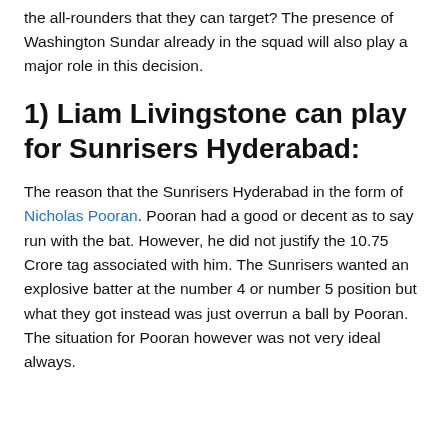the all-rounders that they can target? The presence of Washington Sundar already in the squad will also play a major role in this decision.
1) Liam Livingstone can play for Sunrisers Hyderabad:
The reason that the Sunrisers Hyderabad in the form of Nicholas Pooran. Pooran had a good or decent as to say run with the bat. However, he did not justify the 10.75 Crore tag associated with him. The Sunrisers wanted an explosive batter at the number 4 or number 5 position but what they got instead was just overrun a ball by Pooran. The situation for Pooran however was not very ideal always.